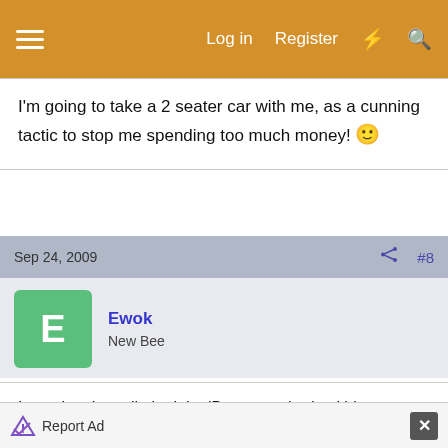Log in  Register
I'm going to take a 2 seater car with me, as a cunning tactic to stop me spending too much money! 🙂
Sep 24, 2009   #8
Ewok
New Bee
I see they have limited the 'Bees on a budget' hive to two per customer, and taken them off sale on the website untill after the sale.

Too many people buying them to build & flog on Ebay???
Report Ad